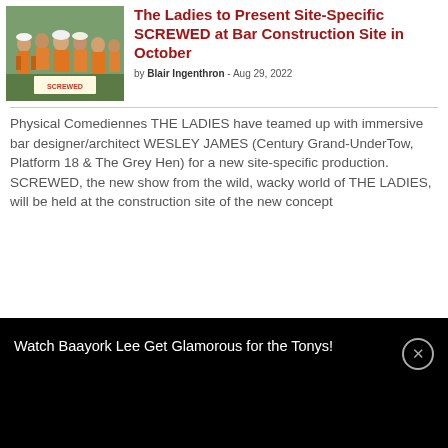[Figure (photo): Group of women in orange construction vests and hard hats at an outdoor site]
The Ladies to Present Site-Specific SCREWED at Bar Construction Site in October
by Blair Ingenthron - Aug 29, 2022
Physical Comediennes THE LADIES have teamed up with immersive bar designer/architect WESLEY JAMES (Century Grand-UnderTow, Platform 18 & The Grey Hen) for a new site-specific production. SCREWED, the new show from the wild, wacky world of THE LADIES, will be held at the construction site of the new concept
Watch Baayork Lee Get Glamorous for the Tonys!